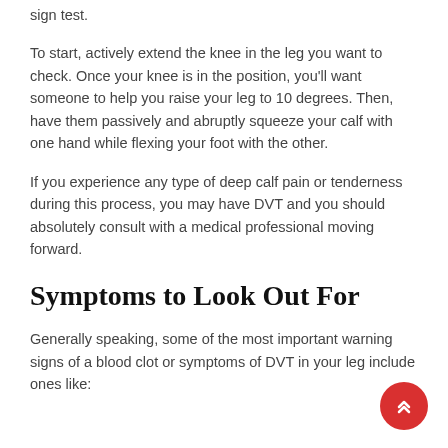sign test.
To start, actively extend the knee in the leg you want to check. Once your knee is in the position, you'll want someone to help you raise your leg to 10 degrees. Then, have them passively and abruptly squeeze your calf with one hand while flexing your foot with the other.
If you experience any type of deep calf pain or tenderness during this process, you may have DVT and you should absolutely consult with a medical professional moving forward.
Symptoms to Look Out For
Generally speaking, some of the most important warning signs of a blood clot or symptoms of DVT in your leg include ones like: